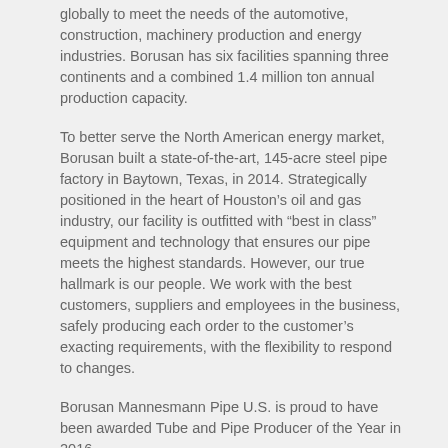globally to meet the needs of the automotive, construction, machinery production and energy industries. Borusan has six facilities spanning three continents and a combined 1.4 million ton annual production capacity.
To better serve the North American energy market, Borusan built a state-of-the-art, 145-acre steel pipe factory in Baytown, Texas, in 2014. Strategically positioned in the heart of Houston’s oil and gas industry, our facility is outfitted with “best in class” equipment and technology that ensures our pipe meets the highest standards. However, our true hallmark is our people. We work with the best customers, suppliers and employees in the business, safely producing each order to the customer’s exacting requirements, with the flexibility to respond to changes.
Borusan Mannesmann Pipe U.S. is proud to have been awarded Tube and Pipe Producer of the Year in 2016